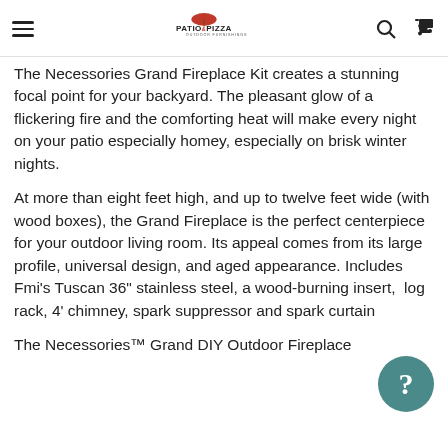Patio & Pizza Outdoor Furnishings
The Necessories Grand Fireplace Kit creates a stunning focal point for your backyard. The pleasant glow of a flickering fire and the comforting heat will make every night on your patio especially homey, especially on brisk winter nights.
At more than eight feet high, and up to twelve feet wide (with wood boxes), the Grand Fireplace is the perfect centerpiece for your outdoor living room. Its appeal comes from its large profile, universal design, and aged appearance. Includes Fmi's Tuscan 36" stainless steel, a wood-burning insert,  log rack, 4' chimney, spark suppressor and spark curtain
The Necessories™ Grand DIY Outdoor Fireplace